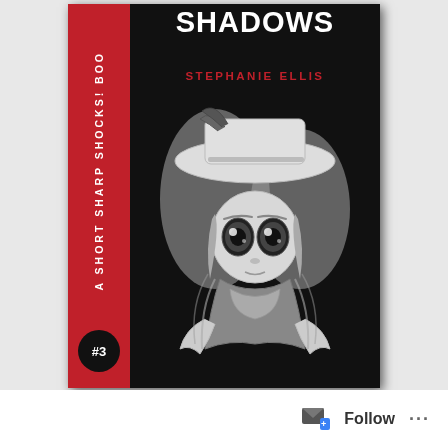[Figure (illustration): Book cover for 'Shadows' by Stephanie Ellis. A Short Sharp Shocks! Book #3. Dark background with a creepy doll illustration wearing a wide-brimmed hat. Red spine strip on the left with series title and #3 badge.]
Follow ···